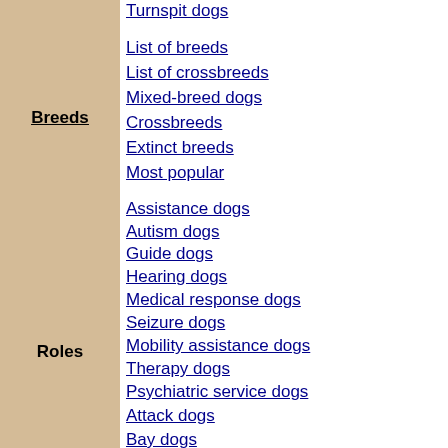Breeds
Turnspit dogs
List of breeds
List of crossbreeds
Mixed-breed dogs
Crossbreeds
Extinct breeds
Most popular
Roles
Assistance dogs
Autism dogs
Guide dogs
Hearing dogs
Medical response dogs
Seizure dogs
Mobility assistance dogs
Therapy dogs
Psychiatric service dogs
Attack dogs
Bay dogs
Carriage dogs
Catch dogs
Companion dogs
Detection dogs
Fighting dogs
Guard dogs